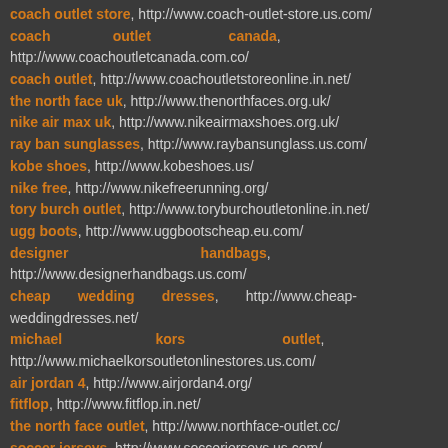coach outlet store, http://www.coach-outlet-store.us.com/
coach outlet canada, http://www.coachoutletcanada.com.co/
coach outlet, http://www.coachoutletstoreonline.in.net/
the north face uk, http://www.thenorthfaces.org.uk/
nike air max uk, http://www.nikeairmaxshoes.org.uk/
ray ban sunglasses, http://www.raybansunglass.us.com/
kobe shoes, http://www.kobeshoes.us/
nike free, http://www.nikefreerunning.org/
tory burch outlet, http://www.toryburchoutletonline.in.net/
ugg boots, http://www.uggbootscheap.eu.com/
designer handbags, http://www.designerhandbags.us.com/
cheap wedding dresses, http://www.cheap-weddingdresses.net/
michael kors outlet, http://www.michaelkorsoutletonlinestores.us.com/
air jordan 4, http://www.airjordan4.org/
fitflop, http://www.fitflop.in.net/
the north face outlet, http://www.northface-outlet.cc/
soccer jerseys, http://www.soccerjerseys.us.com/
air max 90, http://www.airmax90.us.com/
swarovski jewelry, http://www.swarovski.in.net/